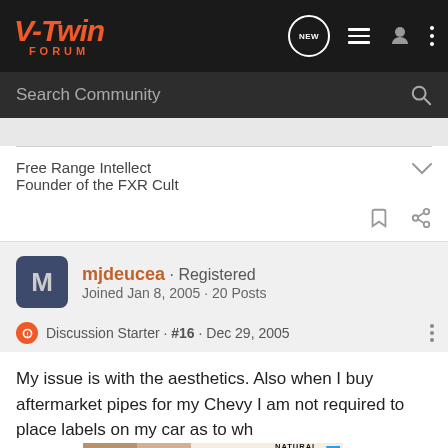V-Twin Forum
Search Community
Free Range Intellect
Founder of the FXR Cult
mjdeucea · Registered
Joined Jan 8, 2005 · 20 Posts
Discussion Starter · #16 · Dec 29, 2005
My issue is with the aesthetics. Also when I buy aftermarket pipes for my Chevy I am not required to place labels on my car as to wh... not have to ... kuni
[Figure (photo): NARS Natural Radiant Longwear Foundation advertisement with before/after face photo]